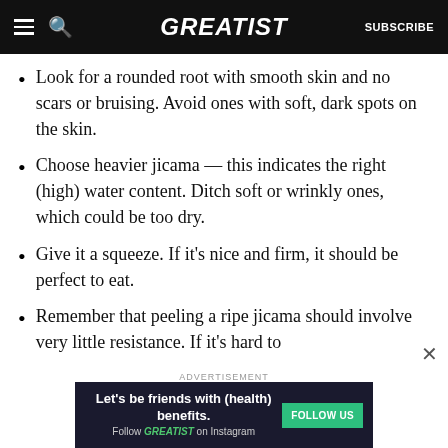GREATIST | SUBSCRIBE
Look for a rounded root with smooth skin and no scars or bruising. Avoid ones with soft, dark spots on the skin.
Choose heavier jicama — this indicates the right (high) water content. Ditch soft or wrinkly ones, which could be too dry.
Give it a squeeze. If it's nice and firm, it should be perfect to eat.
Remember that peeling a ripe jicama should involve very little resistance. If it's hard to
ADVERTISEMENT
[Figure (infographic): Advertisement banner: Let's be friends with (health) benefits. Follow GREATIST on Instagram. FOLLOW US button.]